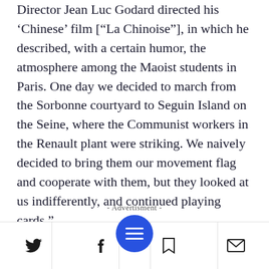Director Jean Luc Godard directed his 'Chinese' film ["La Chinoise"], in which he described, with a certain humor, the atmosphere among the Maoist students in Paris. One day we decided to march from the Sorbonne courtyard to Seguin Island on the Seine, where the Communist workers in the Renault plant were striking. We naively decided to bring them our movement flag and cooperate with them, but they looked at us indifferently, and continued playing cards.”
- Advertisment -
[Twitter icon] [Facebook icon] [Menu button] [Bookmark icon] [Email icon]